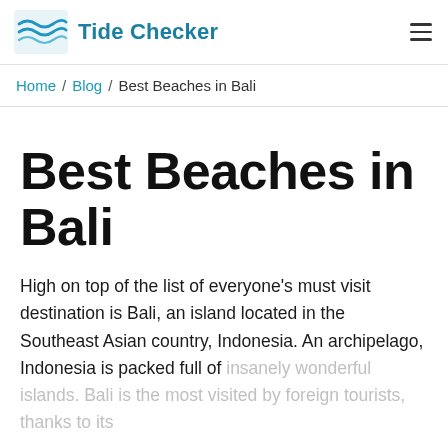Tide Checker
Home / Blog / Best Beaches in Bali
Best Beaches in Bali
High on top of the list of everyone's must visit destination is Bali, an island located in the Southeast Asian country, Indonesia. An archipelago, Indonesia is packed full of insanely wonderful islands. Bali is the most visited by foreign tourists, thanks to its